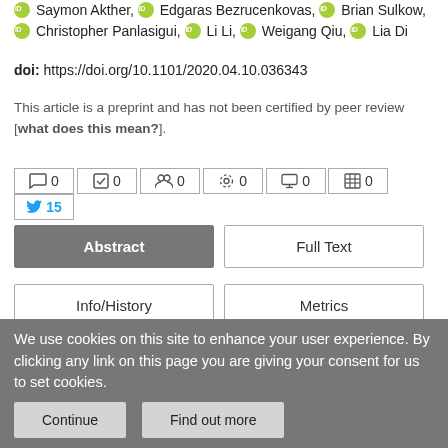Saymon Akther, Edgaras Bezrucenkovas, Brian Sulkow, Christopher Panlasigui, Li Li, Weigang Qiu, Lia Di
doi: https://doi.org/10.1101/2020.04.10.036343
This article is a preprint and has not been certified by peer review [what does this mean?].
[Figure (other): Metrics bar with icons showing: comments 0, checkmarks 0, people 0, settings 0, monitor 0, grid 0, Twitter 15]
[Figure (other): Navigation buttons: Abstract (active/dark), Full Text, Info/History, Metrics, Preview PDF]
Abstract
We use cookies on this site to enhance your user experience. By clicking any link on this page you are giving your consent for us to set cookies.